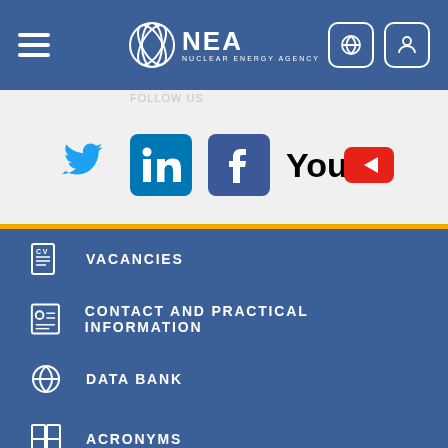NEA Nuclear Energy Agency navigation header with hamburger menu, NEA logo, globe icon, and user icon
[Figure (logo): Social media icons: Twitter (bird), LinkedIn (in), Facebook (f), YouTube (You Tube logo)]
VACANCIES
CONTACT AND PRACTICAL INFORMATION
DATA BANK
ACRONYMS
ABOUT US